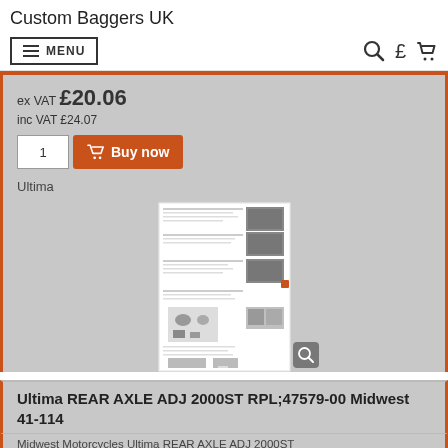Custom Baggers UK
MENU
ex VAT £20.06
inc VAT £24.07
[Figure (screenshot): Product document page thumbnail showing installation instructions with images of parts]
Ultima
Ultima REAR AXLE ADJ 2000ST RPL;47579-00 Midwest 41-114
Midwest Motorcycles Ultima REAR AXLE ADJ 2000ST